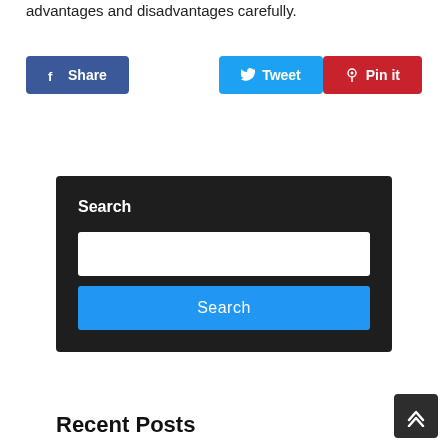advantages and disadvantages carefully.
[Figure (infographic): Social share buttons: Facebook Share (blue), Twitter Tweet (cyan/blue), Pinterest Pin it (red)]
Search
[Figure (other): Search widget with white text input field and blue Search button on dark background]
Recent Posts